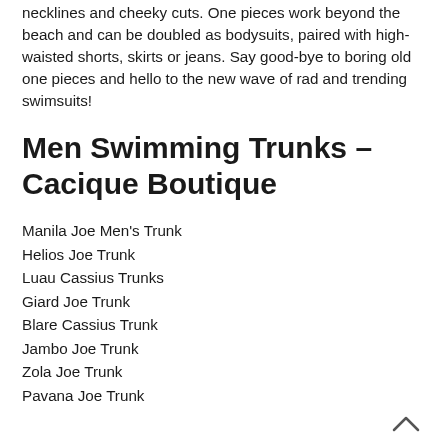necklines and cheeky cuts. One pieces work beyond the beach and can be doubled as bodysuits, paired with high-waisted shorts, skirts or jeans. Say good-bye to boring old one pieces and hello to the new wave of rad and trending swimsuits!
Men Swimming Trunks – Cacique Boutique
Manila Joe Men's Trunk
Helios Joe Trunk
Luau Cassius Trunks
Giard Joe Trunk
Blare Cassius Trunk
Jambo Joe Trunk
Zola Joe Trunk
Pavana Joe Trunk